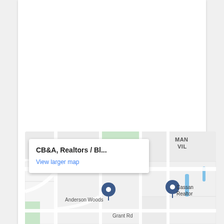[Figure (map): Google Maps embedded map showing CB&A Realtors location near Anderson Woods and Grant Rd, with map pins for CB&A Realtors/Bl... and Cassandra Realtor, and a popup showing 'CB&A, Realtors / Bl...' with a 'View larger map' link. Nearby labels include MAN VIL and Anderson Woods.]